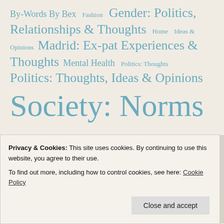By-Words By Bex  Fashion  Gender: Politics, Relationships & Thoughts  Home  Ideas & Opinions  Madrid: Ex-pat Experiences & Thoughts  Mental Health  Politics: Thoughts  Politics: Thoughts, Ideas & Opinions  Society: Norms & Expectations  Thoughts & Ideas  Welsh Legends & Ghosts  Writing & Publishing
Privacy & Cookies: This site uses cookies. By continuing to use this website, you agree to their use. To find out more, including how to control cookies, see here: Cookie Policy